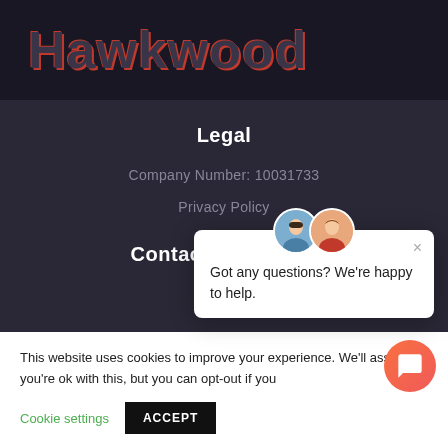Hawkwood
Legal
Company Number: 10031733
Privacy Policy
Contact Information
[Figure (screenshot): Chat popup with avatars of a man and woman, close button (×), and text: Got any questions? We're happy to help.]
This website uses cookies to improve your experience. We'll assume you're ok with this, but you can opt-out if you
Cookie settings
ACCEPT